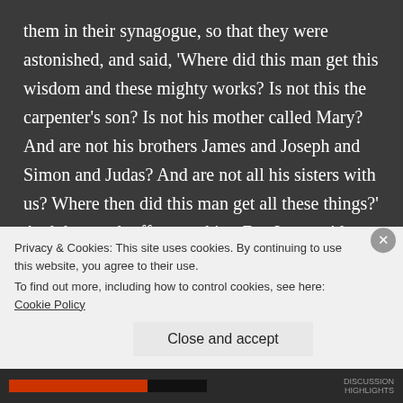them in their synagogue, so that they were astonished, and said, 'Where did this man get this wisdom and these mighty works? Is not this the carpenter's son? Is not his mother called Mary? And are not his brothers James and Joseph and Simon and Judas? And are not all his sisters with us? Where then did this man get all these things?' And they took offense at him. But Jesus said to them, 'A prophet is not without honor except in his hometown and in his own household.' And he did not do many mighty
Privacy & Cookies: This site uses cookies. By continuing to use this website, you agree to their use.
To find out more, including how to control cookies, see here: Cookie Policy
Close and accept